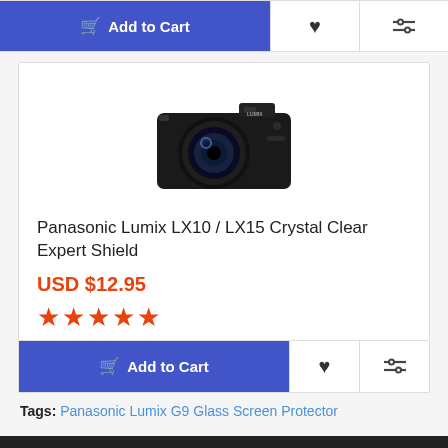[Figure (other): Add to Cart button bar with heart and compare icons at the top of the page]
[Figure (photo): Panasonic Lumix compact camera product photo]
Panasonic Lumix LX10 / LX15 Crystal Clear Expert Shield
USD $12.95
★★★★★ (5 stars)
[Figure (other): Add to Cart button bar with heart and compare icons at the bottom of the product card]
Tags: Panasonic Lumix G9 Glass Screen Protector